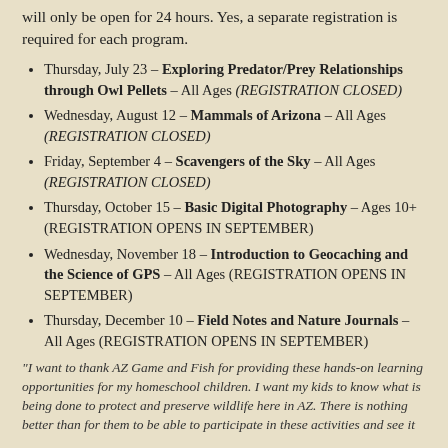will only be open for 24 hours. Yes, a separate registration is required for each program.
Thursday, July 23 – Exploring Predator/Prey Relationships through Owl Pellets – All Ages (REGISTRATION CLOSED)
Wednesday, August 12 – Mammals of Arizona – All Ages (REGISTRATION CLOSED)
Friday, September 4 – Scavengers of the Sky – All Ages (REGISTRATION CLOSED)
Thursday, October 15 – Basic Digital Photography – Ages 10+ (REGISTRATION OPENS IN SEPTEMBER)
Wednesday, November 18 – Introduction to Geocaching and the Science of GPS – All Ages (REGISTRATION OPENS IN SEPTEMBER)
Thursday, December 10 – Field Notes and Nature Journals – All Ages (REGISTRATION OPENS IN SEPTEMBER)
"I want to thank AZ Game and Fish for providing these hands-on learning opportunities for my homeschool children. I want my kids to know what is being done to protect and preserve wildlife here in AZ. There is nothing better than for them to be able to participate in these activities and see it